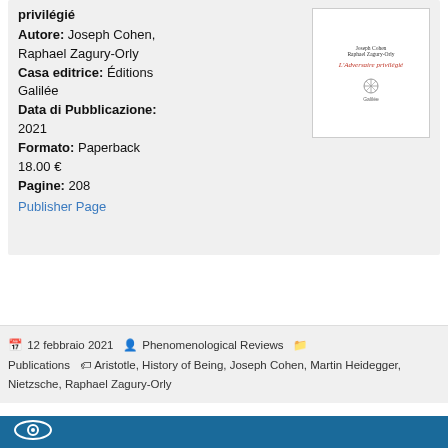privilégié
Autore: Joseph Cohen, Raphael Zagury-Orly
Casa editrice: Éditions Galilée
Data di Pubblicazione: 2021
Formato: Paperback
18.00 €
Pagine: 208
Publisher Page
[Figure (illustration): Book cover of L'Adversaire privilégié by Joseph Cohen and Raphael Zagury-Orly, published by Galilée]
12 febbraio 2021  Phenomenological Reviews  Publications  Aristotle, History of Being, Joseph Cohen, Martin Heidegger, Nietzsche, Raphael Zagury-Orly